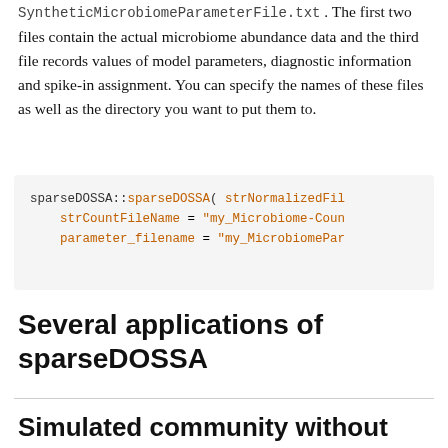SyntheticMicrobiomeParameterFile.txt . The first two files contain the actual microbiome abundance data and the third file records values of model parameters, diagnostic information and spike-in assignment. You can specify the names of these files as well as the directory you want to put them to.
[Figure (screenshot): Code block showing sparseDOSSA::sparseDOSSA( strNormalizedFil..., strCountFileName = "my_Microbiome-Coun...", parameter_filename = "my_MicrobiomePar..." ]
Several applications of sparseDOSSA
Simulated community without